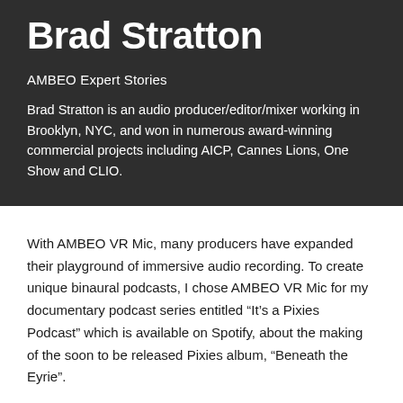Brad Stratton
AMBEO Expert Stories
Brad Stratton is an audio producer/editor/mixer working in Brooklyn, NYC, and won in numerous award-winning commercial projects including AICP, Cannes Lions, One Show and CLIO.
With AMBEO VR Mic, many producers have expanded their playground of immersive audio recording. To create unique binaural podcasts, I chose AMBEO VR Mic for my documentary podcast series entitled “It’s a Pixies Podcast” which is available on Spotify, about the making of the soon to be released Pixies album, “Beneath the Eyrie”.